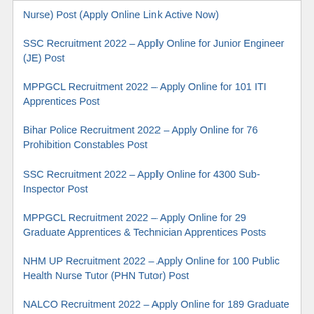Nurse) Post (Apply Online Link Active Now)
SSC Recruitment 2022 – Apply Online for Junior Engineer (JE) Post
MPPGCL Recruitment 2022 – Apply Online for 101 ITI Apprentices Post
Bihar Police Recruitment 2022 – Apply Online for 76 Prohibition Constables Post
SSC Recruitment 2022 – Apply Online for 4300 Sub-Inspector Post
MPPGCL Recruitment 2022 – Apply Online for 29 Graduate Apprentices & Technician Apprentices Posts
NHM UP Recruitment 2022 – Apply Online for 100 Public Health Nurse Tutor (PHN Tutor) Post
NALCO Recruitment 2022 – Apply Online for 189 Graduate Engineer Trainee (GET) Post
Current Affairs
National Testing Agency (NTA) Joint Entrance Exam Session I Exams